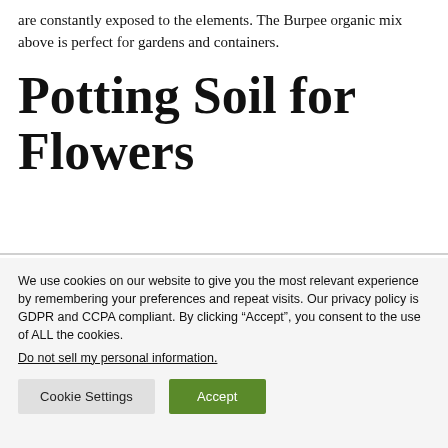are constantly exposed to the elements. The Burpee organic mix above is perfect for gardens and containers.
Potting Soil for Flowers
We use cookies on our website to give you the most relevant experience by remembering your preferences and repeat visits. Our privacy policy is GDPR and CCPA compliant. By clicking “Accept”, you consent to the use of ALL the cookies.
Do not sell my personal information.
Cookie Settings   Accept